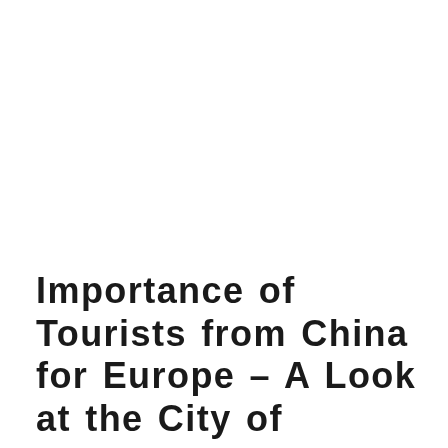Importance of Tourists from China for Europe – A Look at the City of